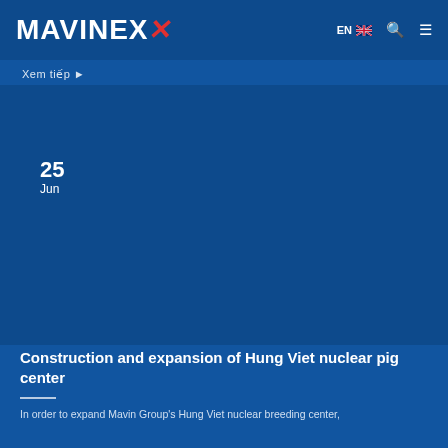MAVINEX EN
Xem tiep ►
25
Jun
[Figure (photo): Large dark blue image area representing a photo of the Hung Viet nuclear pig center construction site, rendered as a solid dark blue rectangle.]
Construction and expansion of Hung Viet nuclear pig center
In order to expand Mavin Group's Hung Viet nuclear breeding center, in July 2022, Mavin Joint Stock Company started the construction...